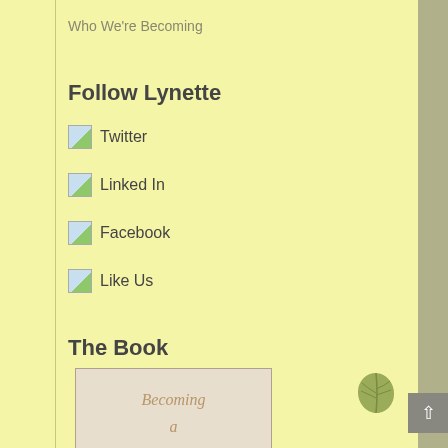Who We're Becoming
Follow Lynette
Twitter
Linked In
Facebook
Like Us
The Book
[Figure (illustration): Book cover showing 'Becoming a Menopause' in cursive script on a aged parchment-colored background with a border]